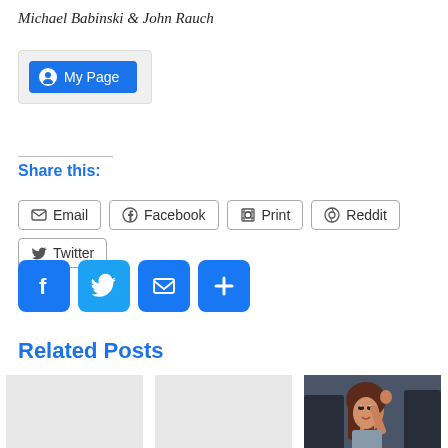Michael Babinski & John Rauch
[Figure (other): My Page button inside a grey box with a blue rounded-rectangle button labeled 'My Page' with a circular person icon]
Share this:
Email | Facebook | Print | Reddit | Twitter (share buttons row)
[Figure (other): Row of four square social sharing icon buttons: Facebook (blue f), Twitter (blue bird), Email (blue envelope), More/Add (blue plus)]
Related Posts
[Figure (other): Comic book illustration showing a woman with brown hair in distress, surrounded by dark figures]
New Issues: Amazing Spider-Man 661
New Issues: Amazing Spider-Man #682
Superior Spider-Man #24 and Superior Plotting